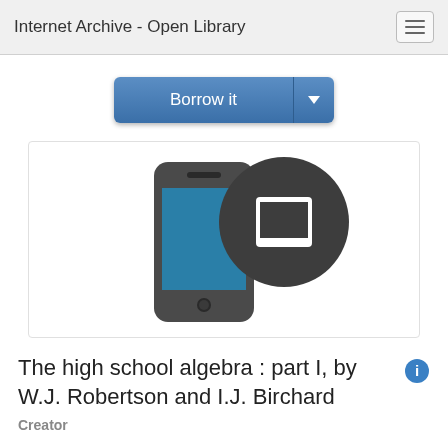Internet Archive - Open Library
[Figure (screenshot): Borrow it button with dropdown arrow, blue gradient styling]
[Figure (illustration): Smartphone icon with teal screen and overlapping dark circle tablet icon]
The high school algebra : part I, by W.J. Robertson and I.J. Birchard
Creator